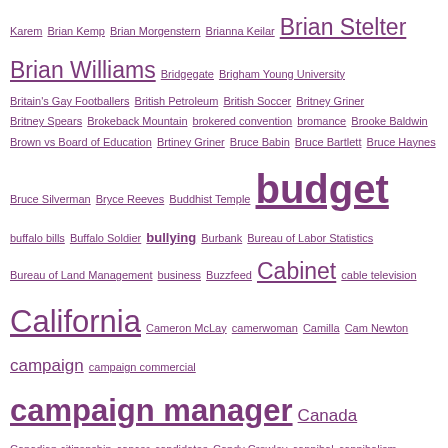Karem Brian Kemp Brian Morgenstern Brianna Keilar Brian Stelter Brian Williams Bridgegate Brigham Young University Britain's Gay Footballers British Petroleum British Soccer Britney Griner Britney Spears Brokeback Mountain brokered convention bromance Brooke Baldwin Brown vs Board of Education Brtiney Griner Bruce Babin Bruce Bartlett Bruce Haynes Bruce Silverman Bryce Reeves Buddhist Temple budget buffalo bills Buffalo Soldier bullying Burbank Bureau of Labor Statistics Bureau of Land Management business Buzzfeed Cabinet cable television California Cameron McLay camerwoman Camilla Cam Newton campaign campaign commercial campaign manager Canada Canadian citizenship cancer candidates Candy Crowley cannibal cannibalism Canvassing While Black Captain America Captain America: Civil War Caravan Magazine Cardinal Timothy Dolan Carletha Cole Carl Hopkins Carlos Arredondo Carlos Danger Carlton Haywood Carl Vinson Carly Fiorina Carmelo Anthony Carnegie Carol Costello Carole Simpson Carolina Panthers Caroline Modarressy-Tehrani Carol Lea Carol Lee Carolyn Castiglia Caron Butler Carrier cartoon Casey Heynes Cassisu X Cassius Clay Catch the Thrones Catholic Church Cathy McMorris Rodgers Cathy Williams cattle